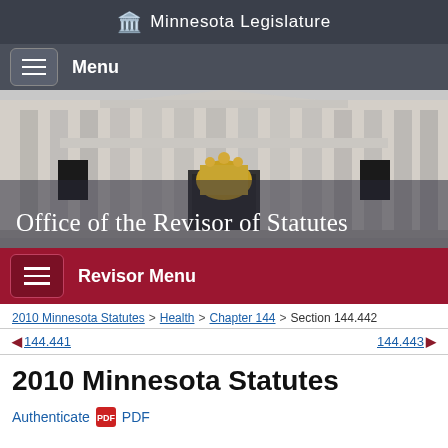Minnesota Legislature
Menu
[Figure (photo): Minnesota State Capitol building exterior with golden sculpture, columns and dome visible]
Office of the Revisor of Statutes
Revisor Menu
2010 Minnesota Statutes > Health > Chapter 144 > Section 144.442
144.441  144.443
2010 Minnesota Statutes
Authenticate PDF